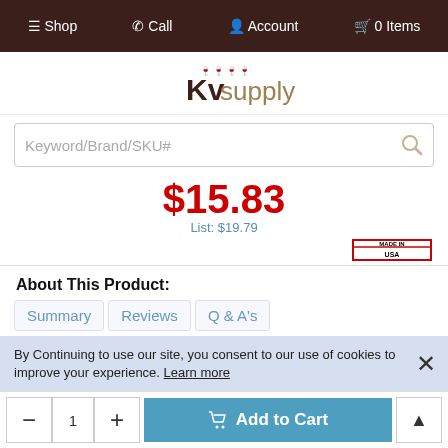≡ Shop  ✆ Call  ♟ Account  🛒 0 Items
[Figure (logo): KV Supply logo with animal silhouettes above the KV text]
Keyword/Brand/SKU#
$15.83  List: $19.79
[Figure (other): Made in USA badge with red border]
About This Product:
Summary   Reviews   Q & A's
Frequently Bought Together
By Continuing to use our site, you consent to our use of cookies to improve your experience. Learn more
- 1 +  Add to Cart  ▲